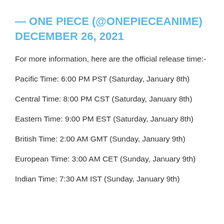— ONE PIECE (@ONEPIECEANIME) DECEMBER 26, 2021
For more information, here are the official release time:-
Pacific Time: 6:00 PM PST (Saturday, January 8th)
Central Time: 8:00 PM CST (Saturday, January 8th)
Eastern Time: 9:00 PM EST (Saturday, January 8th)
British Time: 2:00 AM GMT (Sunday, January 9th)
European Time: 3:00 AM CET (Sunday, January 9th)
Indian Time: 7:30 AM IST (Sunday, January 9th)